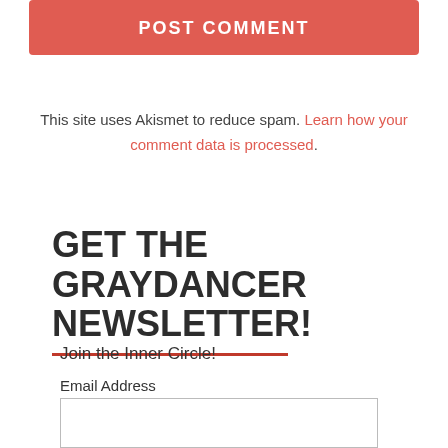POST COMMENT
This site uses Akismet to reduce spam. Learn how your comment data is processed.
GET THE GRAYDANCER NEWSLETTER!
Join the Inner Circle!
Email Address
SUBSCRIBE